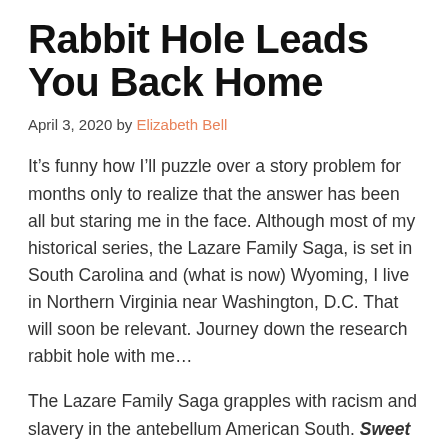Rabbit Hole Leads You Back Home
April 3, 2020 by Elizabeth Bell
It’s funny how I’ll puzzle over a story problem for months only to realize that the answer has been all but staring me in the face. Although most of my historical series, the Lazare Family Saga, is set in South Carolina and (what is now) Wyoming, I live in Northern Virginia near Washington, D.C. That will soon be relevant. Journey down the research rabbit hole with me…
The Lazare Family Saga grapples with racism and slavery in the antebellum American South. Sweet